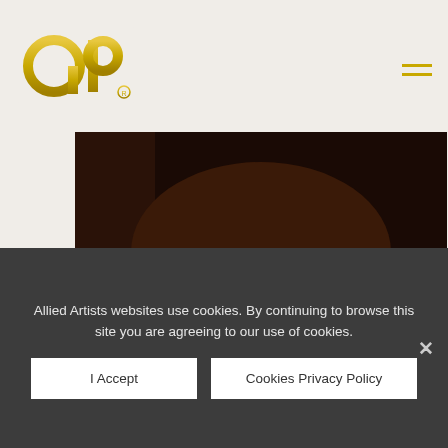AP logo and navigation
[Figure (photo): Close-up photo of Andy Johns, a man with medium-length dark brown hair wearing a blue shirt, photographed in a dimly lit studio setting]
April 7, 2013
Famed Music Producer Andy Johns
Allied Artists websites use cookies. By continuing to browse this site you are agreeing to our use of cookies.
I Accept
Cookies Privacy Policy